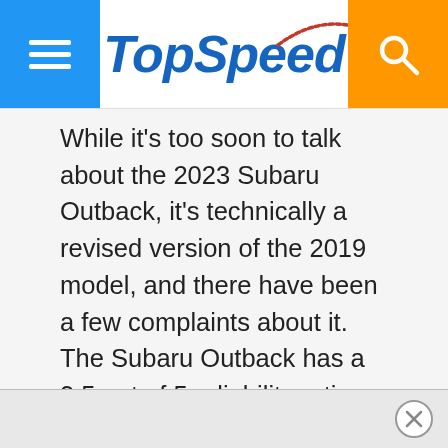TopSpeed
While it's too soon to talk about the 2023 Subaru Outback, it's technically a revised version of the 2019 model, and there have been a few complaints about it. The Subaru Outback has a 3.5 out of 5 reliability rating, which is not terrible, but there have been a few issues, among which numerous complaints about vague and unpredictable steering, electrical gremlins, excessive oil consumption, and faulty CVT transmissions.